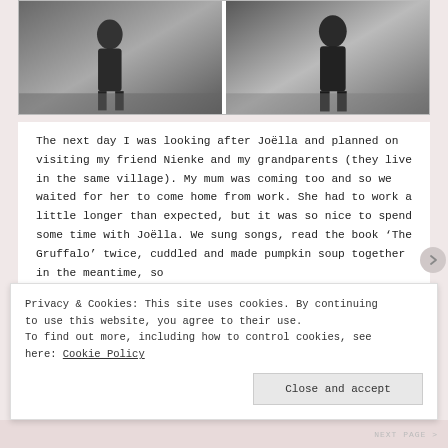[Figure (photo): Two black and white photos side by side showing a child figure outdoors, appearing to be a diptych or sequence]
The next day I was looking after Joëlla and planned on visiting my friend Nienke and my grandparents (they live in the same village). My mum was coming too and so we waited for her to come home from work. She had to work a little longer than expected, but it was so nice to spend some time with Joëlla. We sung songs, read the book 'The Gruffalo' twice, cuddled and made pumpkin soup together in the meantime, so
Privacy & Cookies: This site uses cookies. By continuing to use this website, you agree to their use.
To find out more, including how to control cookies, see here: Cookie Policy